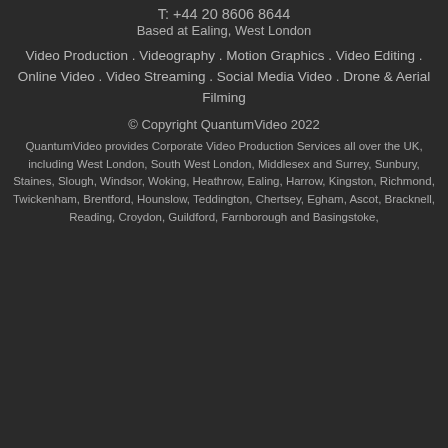T: +44 20 8606 8644
Based at Ealing, West London
Video Production . Videography . Motion Graphics . Video Editing . Online Video . Video Streaming . Social Media Video . Drone & Aerial Filming
© Copyright QuantumVideo 2022
QuantumVideo provides Corporate Video Production Services all over the UK, including West London, South West London, Middlesex and Surrey, Sunbury, Staines, Slough, Windsor, Woking, Heathrow, Ealing, Harrow, Kingston, Richmond, Twickenham, Brentford, Hounslow, Teddington, Chertsey, Egham, Ascot, Bracknell, Reading, Croydon, Guildford, Farnborough and Basingstoke,